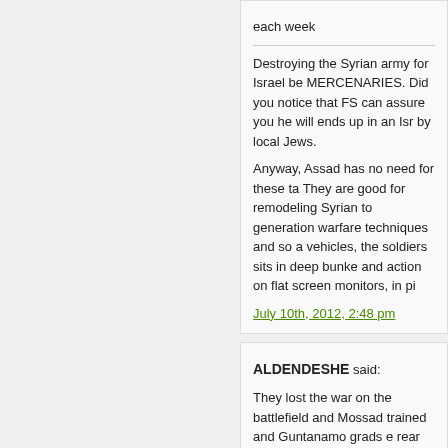each week
Destroying the Syrian army for Israel be MERCENARIES. Did you notice that FS can assure you he will ends up in an Isr by local Jews.
Anyway, Assad has no need for these ta They are good for remodeling Syrian to generation warfare techniques and so a vehicles, the soldiers sits in deep bunke and action on flat screen monitors, in pi
July 10th, 2012, 2:48 pm
ALDENDESHE said:
They lost the war on the battlefield and Mossad trained and Guntanamo grads e rear action? Bailed out to nearest RAMA
July 10th, 2012, 2:55 pm
ANTOINE said:
72. UZAIR8 said :
“You asked me earlier about the rebels
That would be wrong. Surely sincere att individuals imprisoned?"